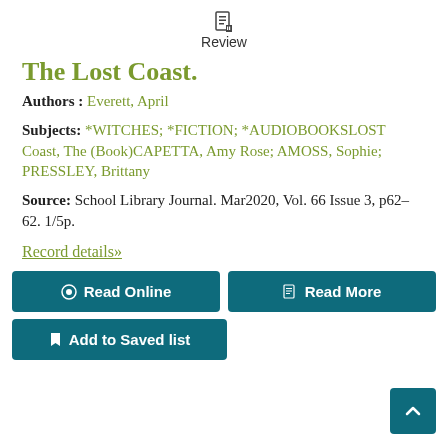Review
The Lost Coast.
Authors : Everett, April
Subjects: *WITCHES; *FICTION; *AUDIOBOOKSLOST Coast, The (Book)CAPETTA, Amy Rose; AMOSS, Sophie; PRESSLEY, Brittany
Source: School Library Journal. Mar2020, Vol. 66 Issue 3, p62-62. 1/5p.
Record details»
Read Online
Read More
Add to Saved list